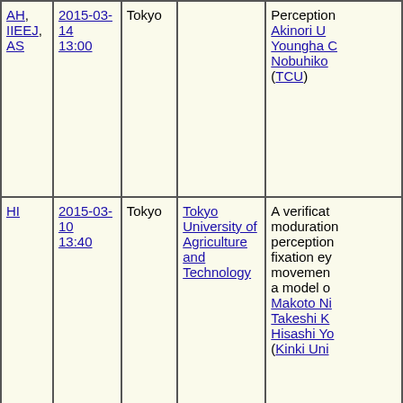| AH, IIEEJ, AS | 2015-03-14 13:00 | Tokyo |  | Perception Akinori U Youngha C Nobuhiko (TCU) |
| HI | 2015-03-10 13:40 | Tokyo | Tokyo University of Agriculture and Technology | A verification moduration perception fixation eye movement a model o Makoto Ni Takeshi K Hisashi Yo (Kinki Uni |
| HI, 3DMT | 2013-03-05 15:00 | Tokyo | Tokyo University of Agriculture and Technology | Symmetry image com exploring a representa shape by Ken Kure Tsukuba) |
|  |  |  | Tokyo | A saliency for dynam |